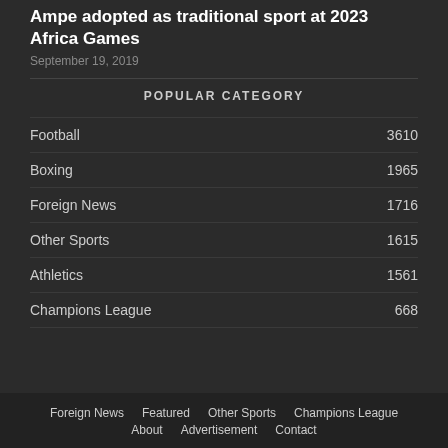Ampe adopted as traditional sport at 2023 Africa Games
September 19, 2019
POPULAR CATEGORY
Football 3610
Boxing 1965
Foreign News 1716
Other Sports 1615
Athletics 1561
Champions League 668
Foreign News   Featured   Other Sports   Champions League   About   Advertisement   Contact